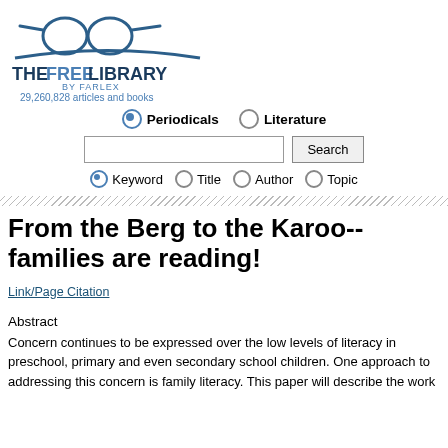[Figure (logo): The Free Library by Farlex logo with glasses icon]
29,260,828 articles and books
Periodicals  Literature (radio buttons)
Search input with Keyword, Title, Author, Topic options
From the Berg to the Karoo--families are reading!
Link/Page Citation
Abstract
Concern continues to be expressed over the low levels of literacy in preschool, primary and even secondary school children. One approach to addressing this concern is family literacy. This paper will describe the work